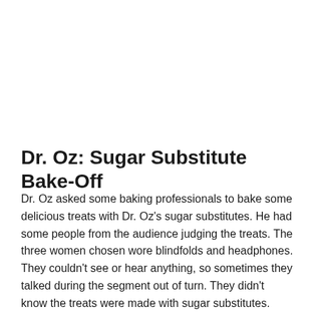Dr. Oz: Sugar Substitute Bake-Off
Dr. Oz asked some baking professionals to bake some delicious treats with Dr. Oz's sugar substitutes. He had some people from the audience judging the treats. The three women chosen wore blindfolds and headphones. They couldn't see or hear anything, so sometimes they talked during the segment out of turn. They didn't know the treats were made with sugar substitutes.